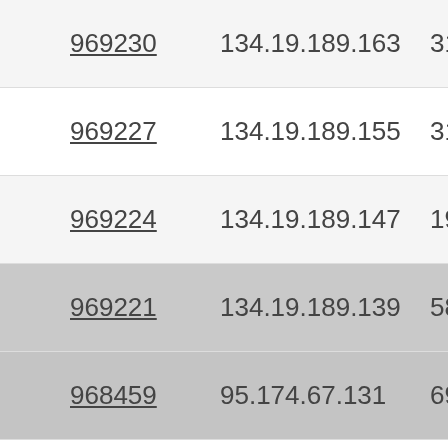| ID | IP Address | Col3 | Col4 | Col5 |
| --- | --- | --- | --- | --- |
| 969230 | 134.19.189.163 | 3111 | 52.35 | 4.9 |
| 969227 | 134.19.189.155 | 3151 | 52.35 | 4.9 |
| 969224 | 134.19.189.147 | 1909 | 52.35 | 4.9 |
| 969221 | 134.19.189.139 | 585 | 52.35 | 4.9 |
| 968459 | 95.174.67.131 | 692 | 52.35 | 4.9 |